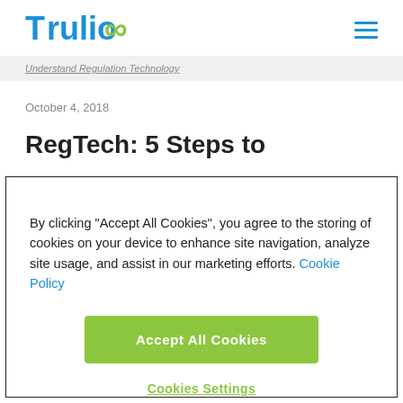Trulioo
Understand Regulation Technology
October 4, 2018
RegTech: 5 Steps to
By clicking "Accept All Cookies", you agree to the storing of cookies on your device to enhance site navigation, analyze site usage, and assist in our marketing efforts. Cookie Policy
Accept All Cookies
Cookies Settings